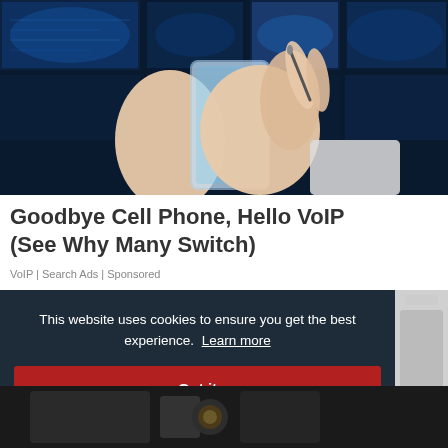[Figure (photo): Two hands holding and using a transparent/futuristic smartphone device against a background of blue digital screens and data visualizations]
Goodbye Cell Phone, Hello VoIP (See Why Many Switch)
VoIP | Search Ads | Sponsored
This website uses cookies to ensure you get the best experience.  Learn more
Got it
[Figure (photo): Partial view of a second advertisement image showing dark background with some equipment]